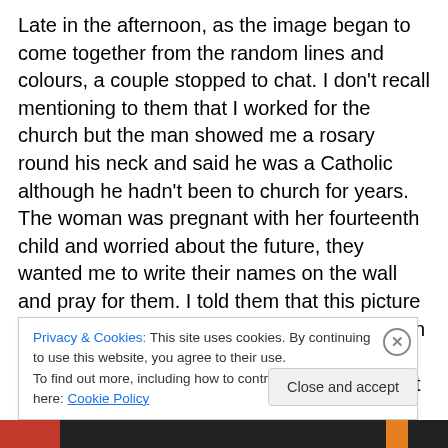Late in the afternoon, as the image began to come together from the random lines and colours, a couple stopped to chat. I don't recall mentioning to them that I worked for the church but the man showed me a rosary round his neck and said he was a Catholic although he hadn't been to church for years. The woman was pregnant with her fourteenth child and worried about the future, they wanted me to write their names on the wall and pray for them. I told them that this picture was my prayer for the whole community. Then I pointed to the pattern that the lad had stencilled earlier in the day and told them that those
Privacy & Cookies: This site uses cookies. By continuing to use this website, you agree to their use.
To find out more, including how to control cookies, see here: Cookie Policy
Close and accept